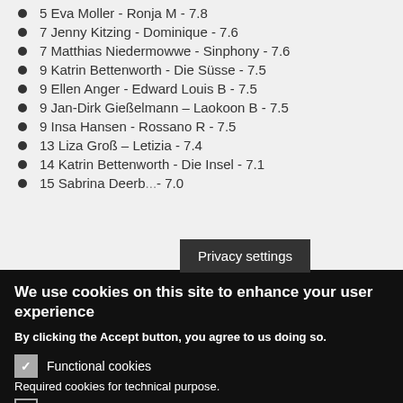5 Eva Moller - Ronja M - 7.8
7 Jenny Kitzing - Dominique - 7.6
7 Matthias Niedermowwe - Sinphony - 7.6
9 Katrin Bettenworth - Die Süsse - 7.5
9 Ellen Anger - Edward Louis B - 7.5
9 Jan-Dirk Gießelmann - Laokoon B - 7.5
9 Insa Hansen - Rossano R - 7.5
13 Liza Groß - Letizia - 7.4
14 Katrin Bettenworth - Die Insel - 7.1
15 Sabrina Deerb... - 7.0
Privacy settings
We use cookies on this site to enhance your user experience
By clicking the Accept button, you agree to us doing so.
Functional cookies
Required cookies for technical purpose.
Analytical cookies
We use Google Analytics on our website.